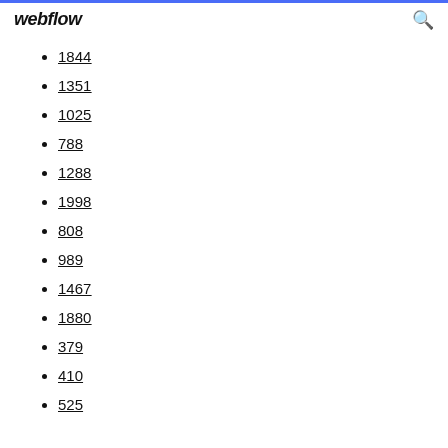webflow
1844
1351
1025
788
1288
1998
808
989
1467
1880
379
410
525